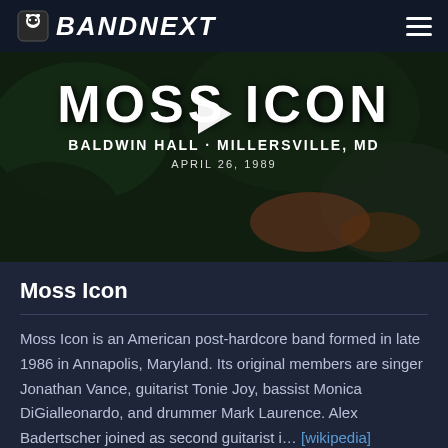BANDNEXT
[Figure (screenshot): Video thumbnail for Moss Icon live concert at Baldwin Hall, Millersville, MD, April 26, 1989. Shows large bold white text 'MOSS ICON' with venue and date below, and a play button triangle in center. Background is a dark greenish live concert scene.]
Moss Icon
Moss Icon is an American post-hardcore band formed in late 1986 in Annapolis, Maryland. Its original members are singer Jonathan Vance, guitarist Tonie Joy, bassist Monica DiGialleonardo, and drummer Mark Laurence. Alex Badertscher joined as second guitarist i… [wikipedia]
Find more bands like Moss Icon